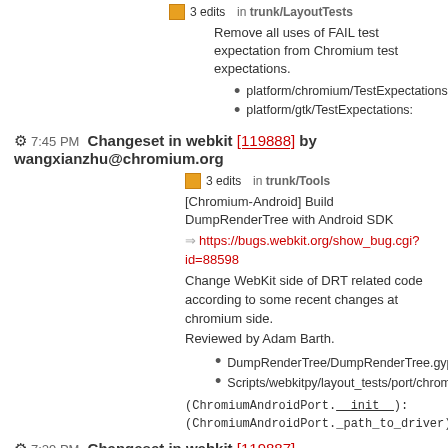3 edits in trunk/LayoutTests
Remove all uses of FAIL test expectation from Chromium test expectations.
platform/chromium/TestExpectations:
platform/gtk/TestExpectations:
7:45 PM Changeset in webkit [119888] by wangxianzhu@chromium.org
3 edits in trunk/Tools
[Chromium-Android] Build DumpRenderTree with Android SDK
https://bugs.webkit.org/show_bug.cgi?id=88598
Change WebKit side of DRT related code according to some recent changes at chromium side.
Reviewed by Adam Barth.
DumpRenderTree/DumpRenderTree.gyp/DumpRenderTree.gyp:
Scripts/webkitpy/layout_tests/port/chromium_android.py:
(ChromiumAndroidPort.__init__):
(ChromiumAndroidPort._path_to_driver):
7:29 PM Changeset in webkit [119887] by commit-queue@webkit.org
21 edits in trunk/Source
[Chromium] Compositor doesn't support translucent root layers.
https://bugs.webkit.org/show_bug.cgi?id=87821